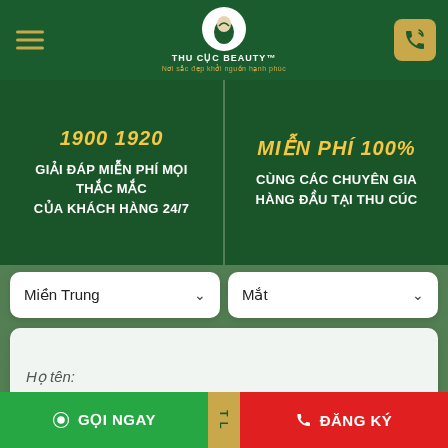[Figure (screenshot): Thu Cuc Beauty website header with logo, hamburger menu, and call button]
1900 1920
GIẢI ĐÁP MIỄN PHÍ MỌI THẮC MẮC CỦA KHÁCH HÀNG 24/7
MIỄN PHÍ 100%
CÙNG CÁC CHUYÊN GIA HÀNG ĐẦU TẠI THU CÚC
Miền Trung
Mắt
Họ tên:
Số điện thoại:
⊙ GỌI NGAY
✆ ĐĂNG KÝ